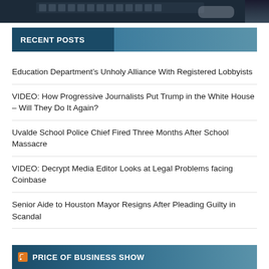[Figure (photo): Partial view of a laptop keyboard on a dark background]
RECENT POSTS
Education Department’s Unholy Alliance With Registered Lobbyists
VIDEO: How Progressive Journalists Put Trump in the White House – Will They Do It Again?
Uvalde School Police Chief Fired Three Months After School Massacre
VIDEO: Decrypt Media Editor Looks at Legal Problems facing Coinbase
Senior Aide to Houston Mayor Resigns After Pleading Guilty in Scandal
PRICE OF BUSINESS SHOW